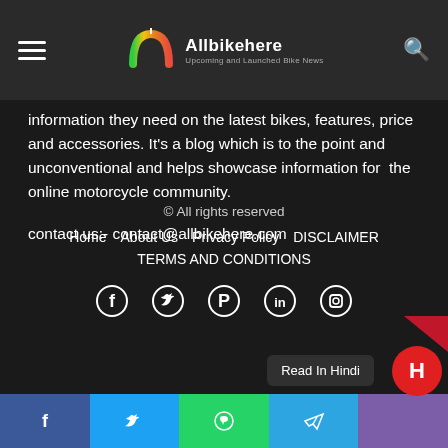Allbikehere — Upcoming and Launched Bike News
information they need on the latest bikes, features, price and accessories. It's a blog which is to the point and unconventional and helps showcase information for the online motorcycle community.
contact us:- contact@allbikehere.com
© All rights reserved
Home   About Us   Privacy Policy   DISCLAIMER
TERMS AND CONDITIONS